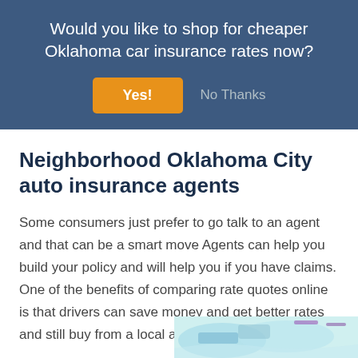Would you like to shop for cheaper Oklahoma car insurance rates now?
Yes!
No Thanks
Neighborhood Oklahoma City auto insurance agents
Some consumers just prefer to go talk to an agent and that can be a smart move Agents can help you build your policy and will help you if you have claims. One of the benefits of comparing rate quotes online is that drivers can save money and get better rates and still buy from a local agent.
[Figure (illustration): Partial view of illustrated car insurance related image at bottom right corner]